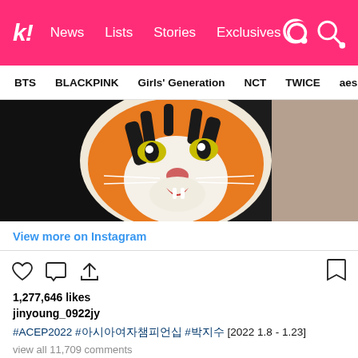k! News Lists Stories Exclusives
BTS BLACKPINK Girls' Generation NCT TWICE aespa
[Figure (photo): Close-up photo of a tiger face design/mask or jacket print against a dark background]
View more on Instagram
1,277,646 likes
jinyoung_0922jy
#ACEP2022 #아시아여자챔피언십 #박지수 [2022 1.8 - 1.23]
view all 11,709 comments
Add a comment...